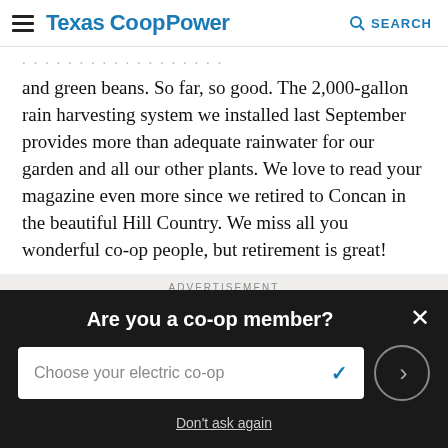Texas Co-op Power  SEARCH
and green beans. So far, so good. The 2,000-gallon rain harvesting system we installed last September provides more than adequate rainwater for our garden and all our other plants. We love to read your magazine even more since we retired to Concan in the beautiful Hill Country. We miss all you wonderful co-op people, but retirement is great!
ADVERTISEMENT
[Figure (illustration): Advertisement banner with text 'Restoring and Preserving Our History' on a wood-grain textured background]
Are you a co-op member?
Choose your electric co-op
Don't ask again